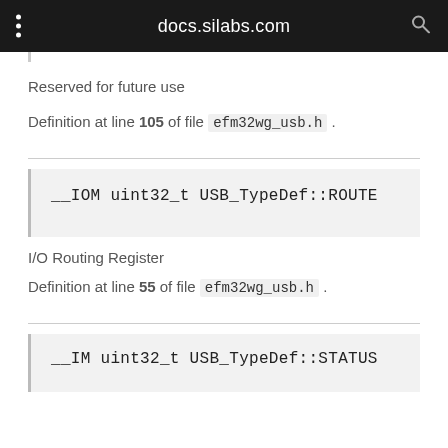docs.silabs.com
Reserved for future use
Definition at line 105 of file efm32wg_usb.h .
__IOM uint32_t USB_TypeDef::ROUTE
I/O Routing Register
Definition at line 55 of file efm32wg_usb.h .
__IM uint32_t USB_TypeDef::STATUS